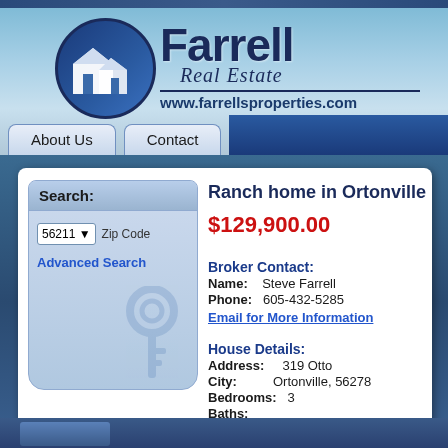[Figure (logo): Farrell Real Estate logo with circular house icon and website www.farrellsproperties.com]
Farrell Real Estate — www.farrellsproperties.com
About Us | Contact
Search:
56211 Zip Code
Advanced Search
Ranch home in Ortonville
$129,900.00
Broker Contact:
Name: Steve Farrell
Phone: 605-432-5285
Email for More Information
House Details:
Address: 319 Otto
City: Ortonville, 56278
Bedrooms: 3